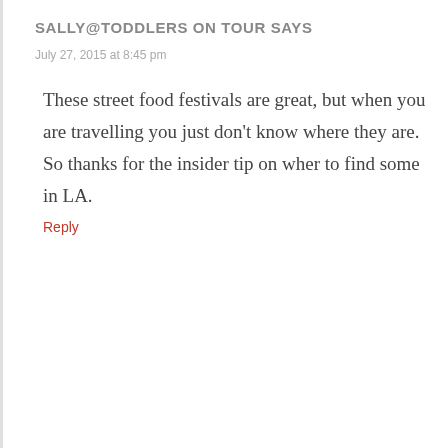SALLY@TODDLERS ON TOUR SAYS
July 27, 2015 at 8:45 pm
These street food festivals are great, but when you are travelling you just don’t know where they are. So thanks for the insider tip on wher to find some in LA.
Reply